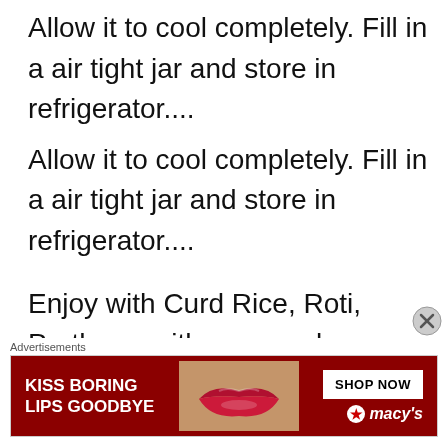Allow it to cool completely. Fill in a air tight jar and store in refrigerator....
Allow it to cool completely. Fill in a air tight jar and store in refrigerator....
Enjoy with Curd Rice, Roti, Pratha or with any meal
[Figure (other): Advertisement banner: 'KISS BORING LIPS GOODBYE' with a woman's lips image and Macy's SHOP NOW button]
Advertisements